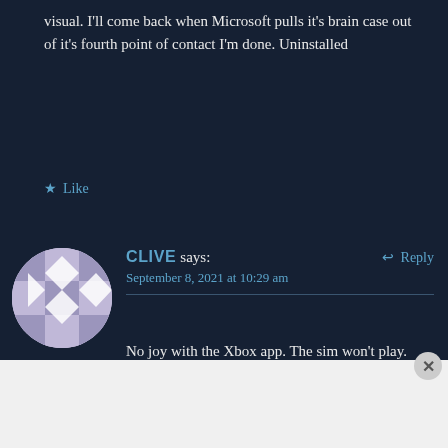visual. I'll come back when Microsoft pulls it's brain case out of it's fourth point of contact I'm done. Uninstalled
Like
CLIVE says:
September 8, 2021 at 10:29 am
No joy with the Xbox app. The sim won't play. Planet earth is blue and there is nothing I can do.
Advertisements
[Figure (screenshot): Advertisement banner: KISS BORING LIPS GOODBYE with SHOP NOW button and Macy's logo on red background]